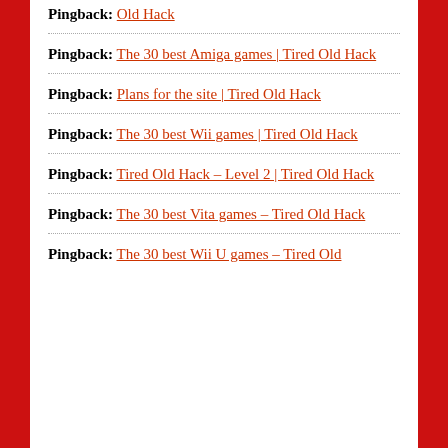Pingback: Old Hack
Pingback: The 30 best Amiga games | Tired Old Hack
Pingback: Plans for the site | Tired Old Hack
Pingback: The 30 best Wii games | Tired Old Hack
Pingback: Tired Old Hack – Level 2 | Tired Old Hack
Pingback: The 30 best Vita games – Tired Old Hack
Pingback: The 30 best Wii U games – Tired Old